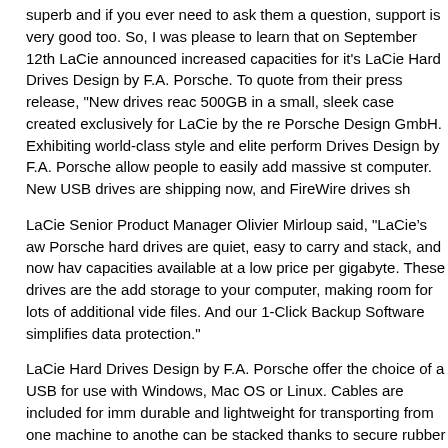superb and if you ever need to ask them a question, support is very good too. So, I was please to learn that on September 12th LaCie announced increased capacities for it's LaCie Hard Drives Design by F.A. Porsche. To quote from their press release, "New drives reac 500GB in a small, sleek case created exclusively for LaCie by the re Porsche Design GmbH. Exhibiting world-class style and elite perform Drives Design by F.A. Porsche allow people to easily add massive st computer. New USB drives are shipping now, and FireWire drives sh
LaCie Senior Product Manager Olivier Mirloup said, "LaCie’s aw Porsche hard drives are quiet, easy to carry and stack, and now hav capacities available at a low price per gigabyte. These drives are the add storage to your computer, making room for lots of additional vide files. And our 1-Click Backup Software simplifies data protection."
LaCie Hard Drives Design by F.A. Porsche offer the choice of a USB for use with Windows, Mac OS or Linux. Cables are included for imm durable and lightweight for transporting from one machine to anothe can be stacked thanks to secure rubber feet underneath.
I hope to bring you a full review of a Lacie offering very soon.
Link to the new Lacie 500Gb Hard Drive.